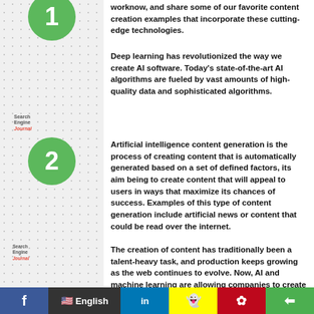worknow, and share some of our favorite content creation examples that incorporate these cutting-edge technologies.
Deep learning has revolutionized the way we create AI software. Today's state-of-the-art AI algorithms are fueled by vast amounts of high-quality data and sophisticated algorithms.
Artificial intelligence content generation is the process of creating content that is automatically generated based on a set of defined factors, its aim being to create content that will appeal to users in ways that maximize its chances of success. Examples of this type of content generation include artificial news or content that could be read over the internet.
The creation of content has traditionally been a talent-heavy task, and production keeps growing as the web continues to evolve. Now, AI and machine learning are allowing companies to create content faster than any human could.
You've heard about artificial intelligence, and maybe even what it can do for your business. But have you considered how to leverage it to create better content? Today we're